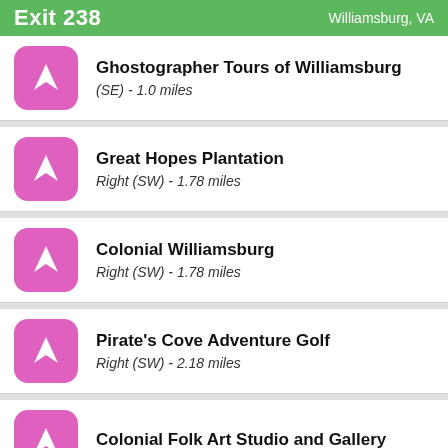Exit 238 | Williamsburg, VA
Ghostographer Tours of Williamsburg
(SE) - 1.0 miles
Great Hopes Plantation
Right (SW) - 1.78 miles
Colonial Williamsburg
Right (SW) - 1.78 miles
Pirate's Cove Adventure Golf
Right (SW) - 2.18 miles
Colonial Folk Art Studio and Gallery